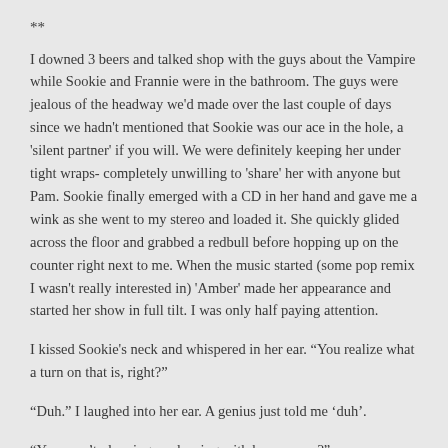**
I downed 3 beers and talked shop with the guys about the Vampire while Sookie and Frannie were in the bathroom. The guys were jealous of the headway we'd made over the last couple of days since we hadn't mentioned that Sookie was our ace in the hole, a 'silent partner' if you will. We were definitely keeping her under tight wraps- completely unwilling to 'share' her with anyone but Pam. Sookie finally emerged with a CD in her hand and gave me a wink as she went to my stereo and loaded it. She quickly glided across the floor and grabbed a redbull before hopping up on the counter right next to me. When the music started (some pop remix I wasn't really interested in) 'Amber' made her appearance and started her show in full tilt. I was only half paying attention.
I kissed Sookie's neck and whispered in her ear. “You realize what a turn on that is, right?”
“Duh.” I laughed into her ear. A genius just told me ‘duh’.
“You aren’t planning on dancing with her are you?”